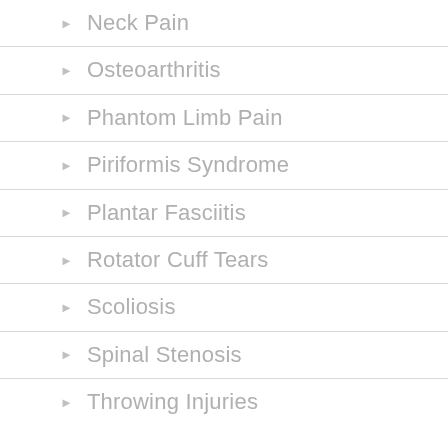Neck Pain
Osteoarthritis
Phantom Limb Pain
Piriformis Syndrome
Plantar Fasciitis
Rotator Cuff Tears
Scoliosis
Spinal Stenosis
Throwing Injuries